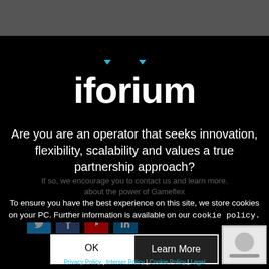[Figure (logo): iforium logo — white lowercase text with cyan/teal downward triangle accents above the 'i' and 'i' in 'ium', on black background]
Are you are an operator that seeks innovation, flexibility, scalability and values a true partnership approach?
If so, we encourage you to contact us and learn more. about the power of Gameflex
To ensure you have the best experience on this site, we store cookies on your PC. Further information is available on our cookie policy.
OK
Learn More
Privacy Policy | Interser Policy | Cookie Policy | Legal